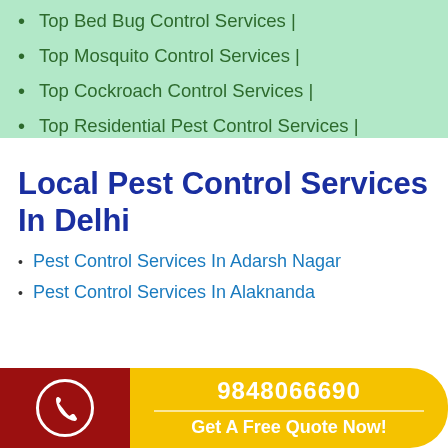Top Bed Bug Control Services |
Top Mosquito Control Services |
Top Cockroach Control Services |
Top Residential Pest Control Services |
Local Pest Control Services In Delhi
Pest Control Services In Adarsh Nagar
Pest Control Services In Alaknanda
9848066690  Get A Free Quote Now!